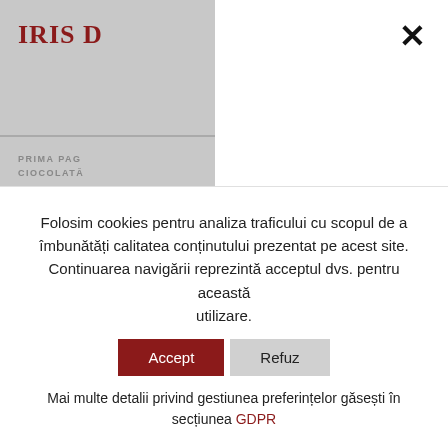IRIS D
PRIMA PAG
CIOCOLATĂ
Dese
Folosim cookies pentru analiza traficului cu scopul de a îmbunătăți calitatea conținutului prezentat pe acest site. Continuarea navigării reprezintă acceptul dvs. pentru această utilizare.
Accept  Refuz
Mai multe detalii privind gestiunea preferințelor găsești în secțiunea GDPR